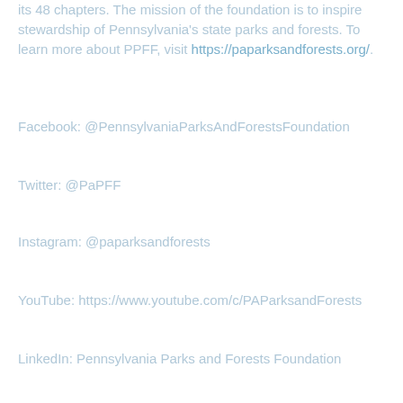its 48 chapters. The mission of the foundation is to inspire stewardship of Pennsylvania's state parks and forests. To learn more about PPFF, visit https://paparksandforests.org/.
Facebook:  @PennsylvaniaParksAndForestsFoundation
Twitter:  @PaPFF
Instagram: @paparksandforests
YouTube: https://www.youtube.com/c/PAParksandForests
LinkedIn:  Pennsylvania Parks and Forests Foundation